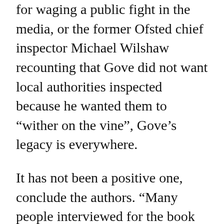for waging a public fight in the media, or the former Ofsted chief inspector Michael Wilshaw recounting that Gove did not want local authorities inspected because he wanted them to “wither on the vine”, Gove’s legacy is everywhere.
It has not been a positive one, conclude the authors. “Many people interviewed for the book hold Gove responsible for some of the fundamental problems with schooling today – the fractured system, high exclusions and unsuitable curriculum,” they write.
These are all problems Brighouse and Waters would seek to address at a post-Covid moment